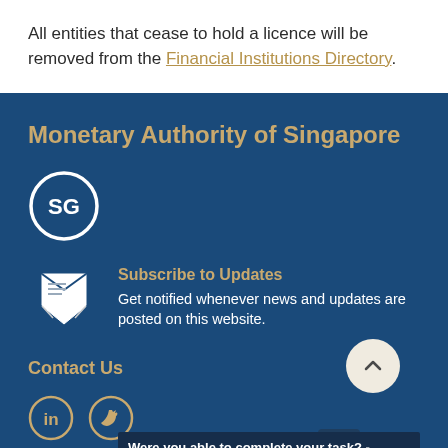All entities that cease to hold a licence will be removed from the Financial Institutions Directory.
Monetary Authority of Singapore
[Figure (logo): SG logo - circle with 'SG' text inside]
Subscribe to Updates
Get notified whenever news and updates are posted on this website.
Contact Us
[Figure (illustration): LinkedIn and Twitter social media icons, scroll-up button, and survey bar with 'Were you able to complete your task? -' text]